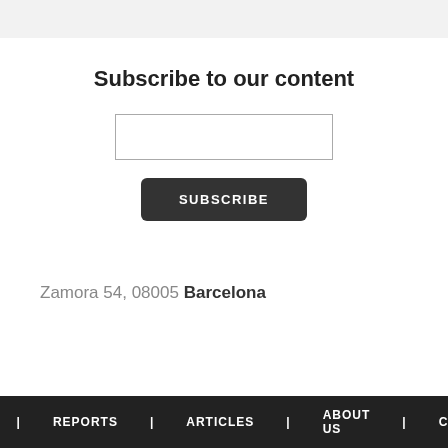Subscribe to our content
SUBSCRIBE
Zamora 54, 08005 Barcelona
HOME | REPORTS | ARTICLES | ABOUT US | CONTACT